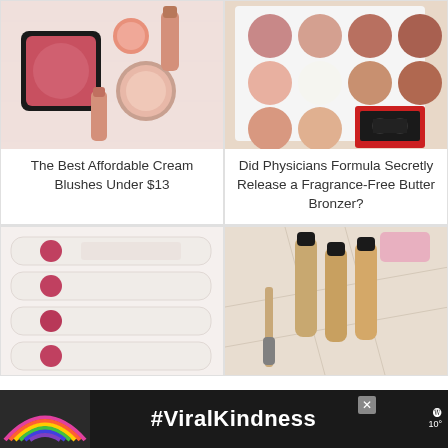[Figure (photo): Flatlay of cream blushes including compact powder, loose powder, and liquid blush products in pink/coral tones on marble surface]
[Figure (photo): Eyeshadow/blush palette with multiple circular pans in pink, coral, brown, and neutral tones, with a cassette tape and magazines]
The Best Affordable Cream Blushes Under $13
Did Physicians Formula Secretly Release a Fragrance-Free Butter Bronzer?
[Figure (photo): Stacked lip gloss or lip product tubes in white packaging with rose/red circular color swatches]
[Figure (photo): Concealer or foundation products in gold/beige tubes with makeup brushes on marble surface]
[Figure (illustration): Advertisement banner with rainbow illustration and #ViralKindness hashtag on dark background]